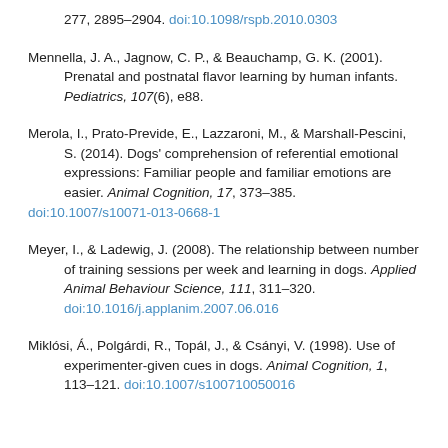277, 2895–2904. doi:10.1098/rspb.2010.0303
Mennella, J. A., Jagnow, C. P., & Beauchamp, G. K. (2001). Prenatal and postnatal flavor learning by human infants. Pediatrics, 107(6), e88.
Merola, I., Prato-Previde, E., Lazzaroni, M., & Marshall-Pescini, S. (2014). Dogs' comprehension of referential emotional expressions: Familiar people and familiar emotions are easier. Animal Cognition, 17, 373–385. doi:10.1007/s10071-013-0668-1
Meyer, I., & Ladewig, J. (2008). The relationship between number of training sessions per week and learning in dogs. Applied Animal Behaviour Science, 111, 311–320. doi:10.1016/j.applanim.2007.06.016
Miklósi, Á., Polgárdi, R., Topál, J., & Csányi, V. (1998). Use of experimenter-given cues in dogs. Animal Cognition, 1, 113–121. doi:10.1007/s100710050016